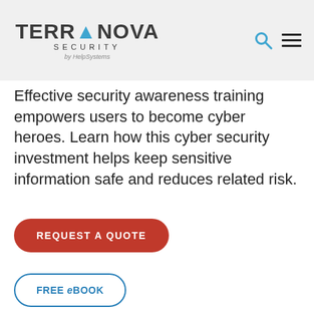[Figure (logo): Terranova Security by HelpSystems logo with search and hamburger menu icons]
Effective security awareness training empowers users to become cyber heroes. Learn how this cyber security investment helps keep sensitive information safe and reduces related risk.
REQUEST A QUOTE
FREE eBOOK